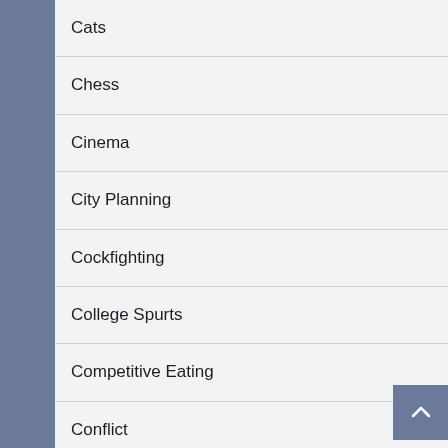Cats
Chess
Cinema
City Planning
Cockfighting
College Spurts
Competitive Eating
Conflict